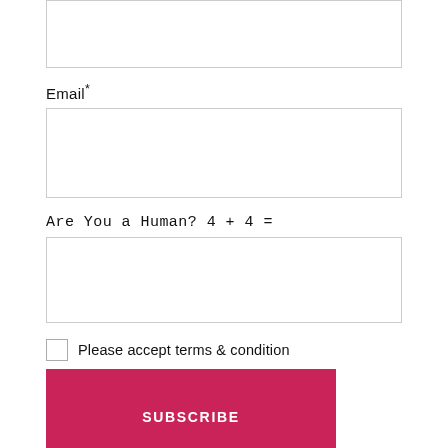Email*
Are You a Human? 4 + 4 =
Please accept terms & condition
SUBSCRIBE
© 2022 Digital Nomad Physicians
Up ↑
Privacy Policy
How can I help you?